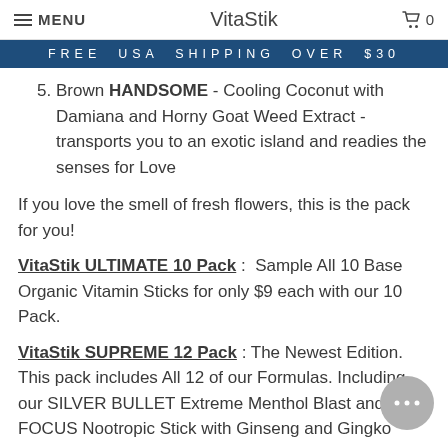MENU   VitaStik   🛒 0
FREE USA SHIPPING OVER $30
5. Brown HANDSOME - Cooling Coconut with Damiana and Horny Goat Weed Extract - transports you to an exotic island and readies the senses for Love
If you love the smell of fresh flowers, this is the pack for you!
VitaStik ULTIMATE 10 Pack :  Sample All 10 Base Organic Vitamin Sticks for only $9 each with our 10 Pack.
VitaStik SUPREME 12 Pack : The Newest Edition.  This pack includes All 12 of our Formulas. Including our SILVER BULLET Extreme Menthol Blast and our FOCUS Nootropic Stick with Ginseng and Gingko